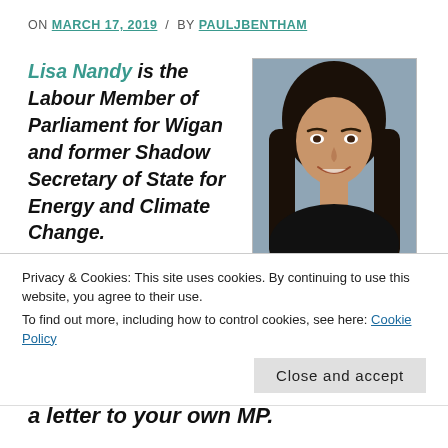ON MARCH 17, 2019 / BY PAULJBENTHAM
Lisa Nandy is the Labour Member of Parliament for Wigan and former Shadow Secretary of State for Energy and Climate Change.
[Figure (photo): Official portrait photo of Lisa Nandy, a woman with long dark hair, smiling, wearing a dark top, against a grey background.]
Privacy & Cookies: This site uses cookies. By continuing to use this website, you agree to their use.
To find out more, including how to control cookies, see here: Cookie Policy
a letter to your own MP.